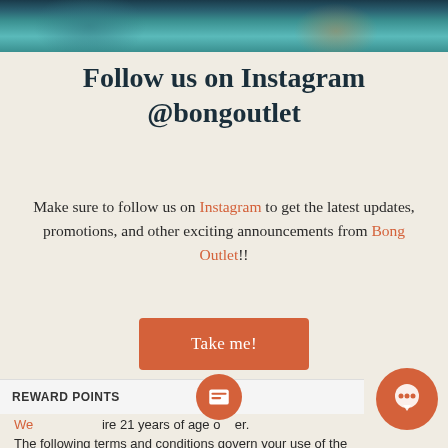[Figure (photo): Top photo strip showing a person in teal/turquoise clothing, partially visible]
Follow us on Instagram @bongoutlet
Make sure to follow us on Instagram to get the latest updates, promotions, and other exciting announcements from Bong Outlet!!
Take me!
This Website is only for the use of individuals are 21 years of age or over. By proceeding to We...ire 21 years of age or over. The following terms and conditions govern your use of the